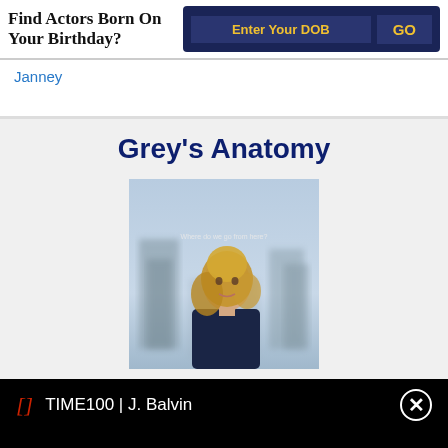Find Actors Born On Your Birthday?
Enter Your DOB
GO
Janney
Grey's Anatomy
[Figure (photo): Promotional poster for Grey's Anatomy showing a woman with long blonde hair standing in a blurred outdoor background. Text reads 'Where do we go from here?']
TIME100 | J. Balvin